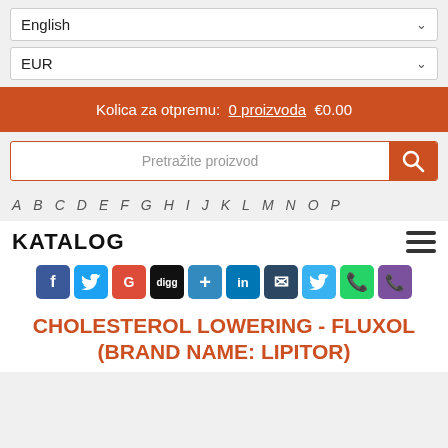English
EUR
Kolica za otpremu: 0 proizvoda €0.00
Pretražite proizvod
A B C D E F G H I J K L M N O P
KATALOG
[Figure (infographic): Social media share icons: Facebook, Twitter, Google+, Digg, Delicious, LinkedIn, Scoop.it, Twitter, WhatsApp, Viber]
CHOLESTEROL LOWERING - FLUXOL (BRAND NAME: LIPITOR)